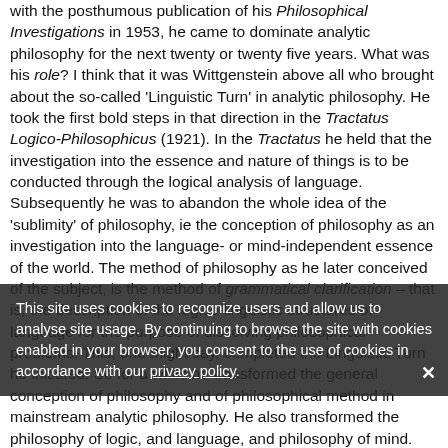with the posthumous publication of his Philosophical Investigations in 1953, he came to dominate analytic philosophy for the next twenty or twenty five years. What was his role? I think that it was Wittgenstein above all who brought about the so-called 'Linguistic Turn' in analytic philosophy. He took the first bold steps in that direction in the Tractatus Logico-Philosophicus (1921). In the Tractatus he held that the investigation into the essence and nature of things is to be conducted through the logical analysis of language. Subsequently he was to abandon the whole idea of the 'sublimity' of philosophy, ie the conception of philosophy as an investigation into the language- or mind-independent essence of the world. The method of philosophy as he later conceived of the subject, is the method of grammatical clarification – that is, the description of the logico-linguistic structures of language for the purpose of dissolving philosophical problems. This, one might say, completed the Linguistic Turn he initiated. So for a while he transformed the general conception of philosophy and of philosophical method in mainstream analytic philosophy. He also transformed the philosophy of logic, and language, and philosophy of mind. But after the mid-1970s his influence waned. The kinds of work and methods he advocated in philosophy of language were displaced by the effort to produce a so-called theory of meaning for a natural language. Similarly, his methods and preoccupations in philosophy of mind were displaced by the new pseudo-discipline that goes by the
This site uses cookies to recognize users and allow us to analyse site usage. By continuing to browse the site with cookies enabled in your browser, you consent to the use of cookies in accordance with our privacy policy.